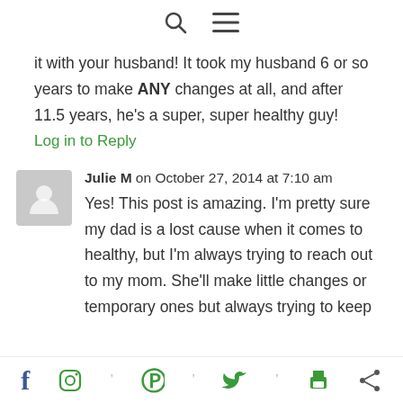[search icon] [menu icon]
it with your husband! It took my husband 6 or so years to make ANY changes at all, and after 11.5 years, he's a super, super healthy guy!
Log in to Reply
Julie M on October 27, 2014 at 7:10 am
Yes! This post is amazing. I'm pretty sure my dad is a lost cause when it comes to healthy, but I'm always trying to reach out to my mom. She'll make little changes or temporary ones but always trying to keep
[Facebook] [Instagram] [Pinterest] [Twitter] [Print] [Share]